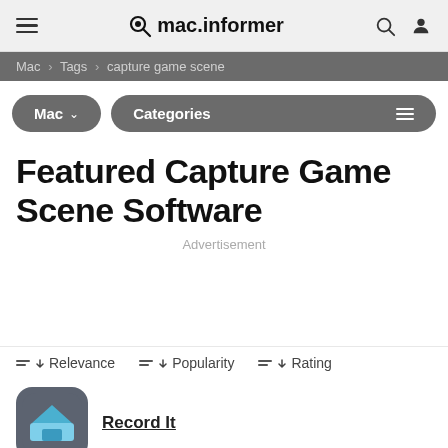mac.informer
Mac › Tags › capture game scene
Mac  Categories
Featured Capture Game Scene Software
Advertisement
Relevance  Popularity  Rating
Record It